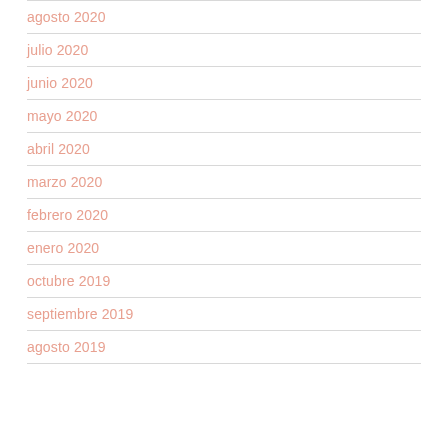agosto 2020
julio 2020
junio 2020
mayo 2020
abril 2020
marzo 2020
febrero 2020
enero 2020
octubre 2019
septiembre 2019
agosto 2019